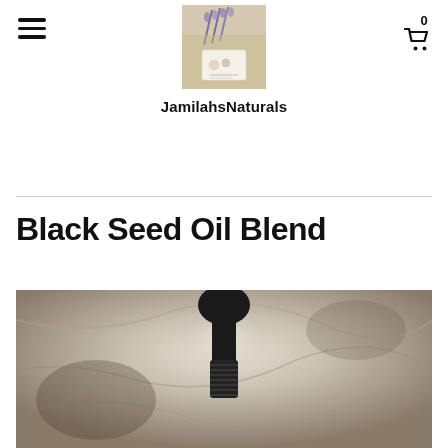[Figure (logo): Jamilahs Naturals store logo — photo of dried flowers and business card]
JamilahsNaturals
Black Seed Oil Blend
[Figure (photo): Close-up photo of a black dropper bottle cap against a marbled stone background]